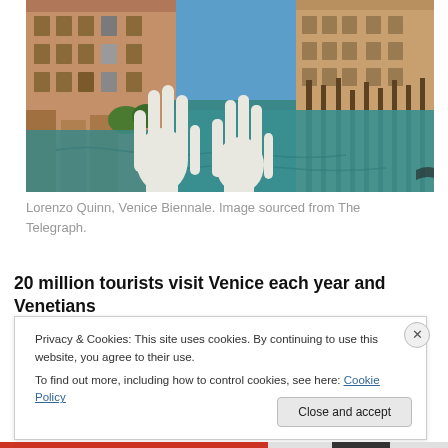[Figure (photo): Photo of Lorenzo Quinn's sculpture 'Support' at the Venice Biennale — two large white hands emerging from the Grand Canal water, with historic Venetian buildings and wooden docking poles in the background under a blue sky.]
Lorenzo Quinn, Venice Biennale. Image sourced from The Telegraph.
20 million tourists visit Venice each year and Venetians
Privacy & Cookies: This site uses cookies. By continuing to use this website, you agree to their use.
To find out more, including how to control cookies, see here: Cookie Policy
Close and accept